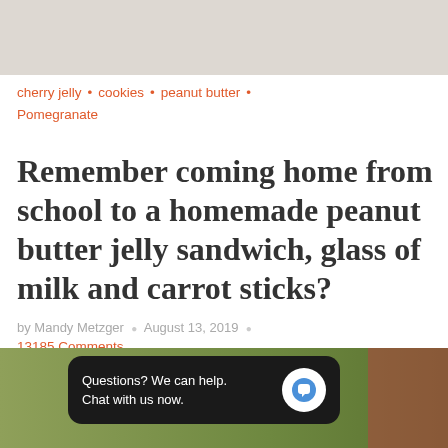[Figure (photo): Top portion of a food blog image, light/white background]
cherry jelly • cookies • peanut butter • Pomegranate
Remember coming home from school to a homemade peanut butter jelly sandwich, glass of milk and carrot sticks?
by Mandy Metzger • August 13, 2019 •
13185 Comments
Continue Reading ›
[Figure (screenshot): Chat widget overlay reading 'Questions? We can help. Chat with us now.' with blue chat icon, overlaid on bottom food blog image]